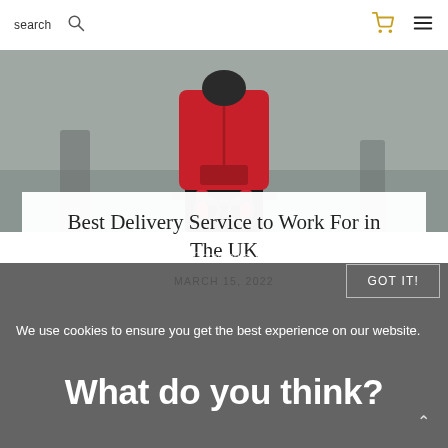search
[Figure (photo): Delivery worker wearing a red backpack, viewed from behind, in a grey urban street environment]
Best Delivery Service to Work For in The UK
MARCH 15, 2022
No Comments Yet.
We use cookies to ensure you get the best experience on our website.
GOT IT!
What do you think?